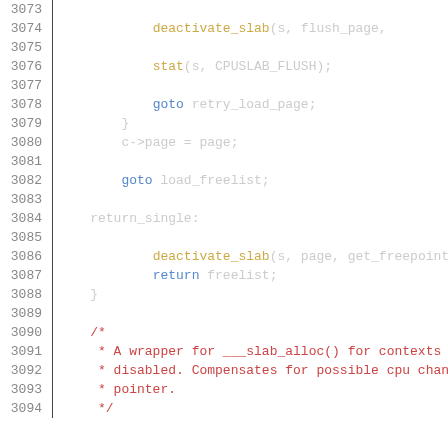Source code listing, lines 3073-3094, showing C kernel slab allocator code with syntax highlighting. Line numbers in gray, keywords in blue, function calls in yellow, comments in red/dark-red.